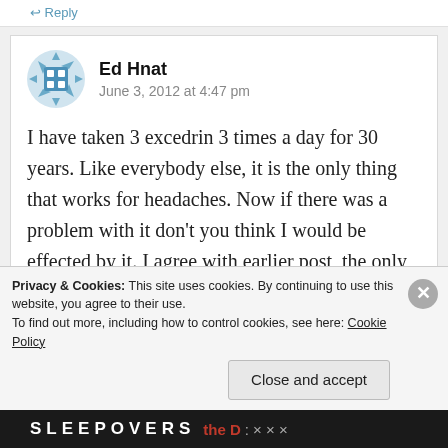Reply
[Figure (illustration): User avatar icon with blue and white quilt/grid pattern on a light blue background, circular shape]
Ed Hnat
June 3, 2012 at 4:47 pm
I have taken 3 excedrin 3 times a day for 30 years. Like everybody else, it is the only thing that works for headaches. Now if there was a problem with it don't you think I would be effected by it. I agree with earlier post, the only reason they took it off the
Privacy & Cookies: This site uses cookies. By continuing to use this website, you agree to their use.
To find out more, including how to control cookies, see here: Cookie Policy
Close and accept